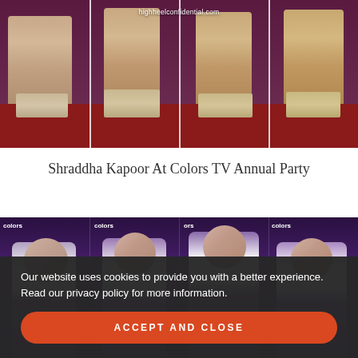[Figure (photo): Four-panel collage showing legs and high heels on a red carpet with Colors TV branding in background. Watermark: highheelconfidential.com]
Shraddha Kapoor At Colors TV Annual Party
[Figure (photo): Four-panel collage showing Shraddha Kapoor in purple blazer and white top at Colors TV Annual Party event, posing against Colors TV branded backdrop]
Our website uses cookies to provide you with a better experience. Read our privacy policy for more information.
ACCEPT AND CLOSE